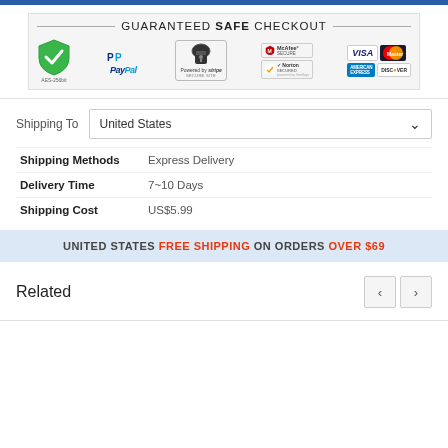[Figure (infographic): Guaranteed Safe Checkout banner showing payment security logos: AES-256bit shield, PayPal, Stripe Secure Site, McAfee Secure, Norton Secured, Visa, MasterCard, American Express, Discover]
Shipping To   United States
| Shipping Methods | Express Delivery |
| Delivery Time | 7~10 Days |
| Shipping Cost | US$5.99 |
UNITED STATES FREE SHIPPING ON ORDERS OVER $69
Related